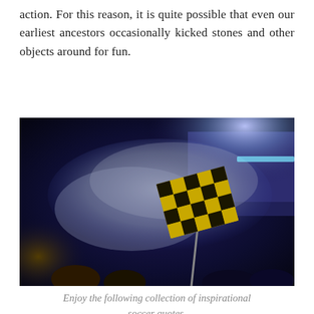action. For this reason, it is quite possible that even our earliest ancestors occasionally kicked stones and other objects around for fun.
[Figure (photo): A nighttime soccer stadium scene with fans waving a large yellow and black checkered flag amid smoke/fog, with a packed crowd and bright stadium lights in the background.]
Enjoy the following collection of inspirational soccer quotes.